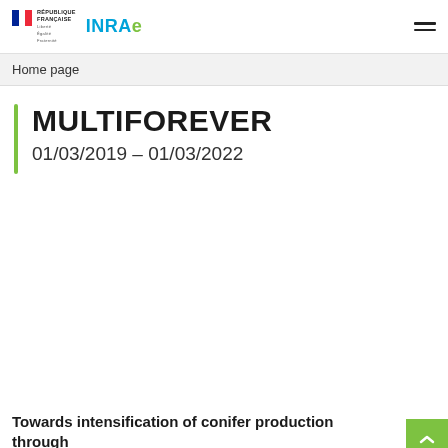REPUBLIQUE FRANÇAISE | INRAE | (hamburger menu)
Home page
MULTIFOREVER
01/03/2019 – 01/03/2022
Towards intensification of conifer production through